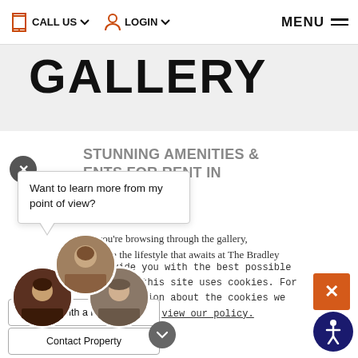CALL US  LOGIN  MENU
GALLERY
STUNNING AMENITIES & ENTS FOR RENT IN ORIA, VA
Want to learn more from my point of view?
As you're browsing through the gallery, imagine the lifestyle that awaits at The Bradley
provide you with the best possible erience, this site uses cookies. For information about the cookies we use, view our policy.
Chat with a Resident
Contact Property